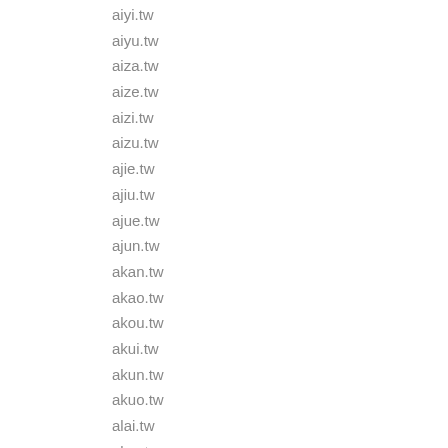aiyi.tw
aiyu.tw
aiza.tw
aize.tw
aizi.tw
aizu.tw
ajie.tw
ajiu.tw
ajue.tw
ajun.tw
akan.tw
akao.tw
akou.tw
akui.tw
akun.tw
akuo.tw
alai.tw
alao.tw
alei.tw
alie.tw
alou.tw
alue.tw
alun.tw
aluo.tw
alyo.tw